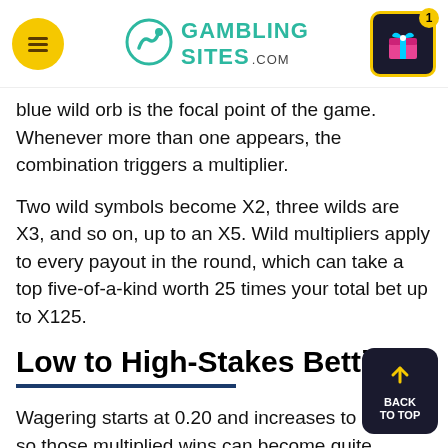GAMBLING SITES .com
blue wild orb is the focal point of the game. Whenever more than one appears, the combination triggers a multiplier.
Two wild symbols become X2, three wilds are X3, and so on, up to an X5. Wild multipliers apply to every payout in the round, which can take a top five-of-a-kind worth 25 times your total bet up to X125.
Low to High-Stakes Betting
Wagering starts at 0.20 and increases to 400.00, so those multiplied wins can become quite valuable.
In addition to the constant wild multipliers, keep an eye out for three scatters, as they'll open up the bonus board with sticky wild hotspots.
A plus sign under the three middle reels acts like a ma...